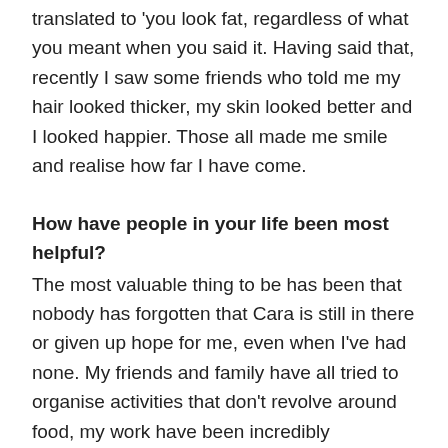translated to 'you look fat, regardless of what you meant when you said it. Having said that, recently I saw some friends who told me my hair looked thicker, my skin looked better and I looked happier. Those all made me smile and realise how far I have come.
How have people in your life been most helpful?
The most valuable thing to be has been that nobody has forgotten that Cara is still in there or given up hope for me, even when I've had none. My friends and family have all tried to organise activities that don't revolve around food, my work have been incredibly supportive and my boyfriend